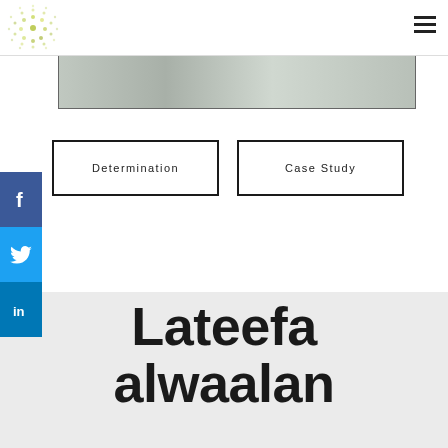Logo and navigation header
[Figure (photo): Partial photo strip showing a blurred indoor scene]
Determination
Case Study
[Figure (infographic): Social media sidebar with Facebook, Twitter, LinkedIn buttons]
Lateefa alwaalan